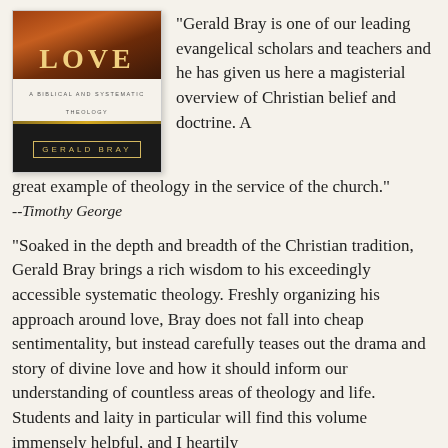[Figure (illustration): Book cover of a theology text by Gerald Bray, showing an orange/brown artistic top image with a partial title, subtitle 'A Biblical and Systematic Theology', gold decorative lines, and author name 'Gerald Bray' in gold text on black background.]
"Gerald Bray is one of our leading evangelical scholars and teachers and he has given us here a magisterial overview of Christian belief and doctrine. A great example of theology in the service of the church."
--Timothy George
"Soaked in the depth and breadth of the Christian tradition, Gerald Bray brings a rich wisdom to his exceedingly accessible systematic theology. Freshly organizing his approach around love, Bray does not fall into cheap sentimentality, but instead carefully teases out the drama and story of divine love and how it should inform our understanding of countless areas of theology and life. Students and laity in particular will find this volume immensely helpful, and I heartily